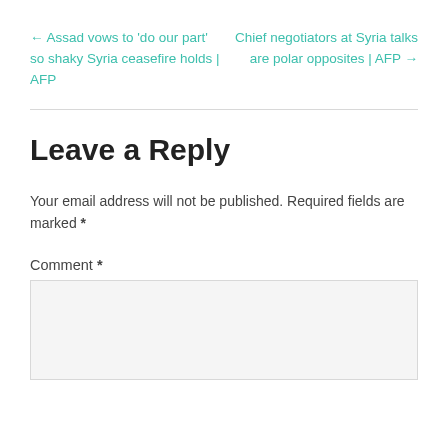← Assad vows to 'do our part' so shaky Syria ceasefire holds | AFP
Chief negotiators at Syria talks are polar opposites | AFP →
Leave a Reply
Your email address will not be published. Required fields are marked *
Comment *